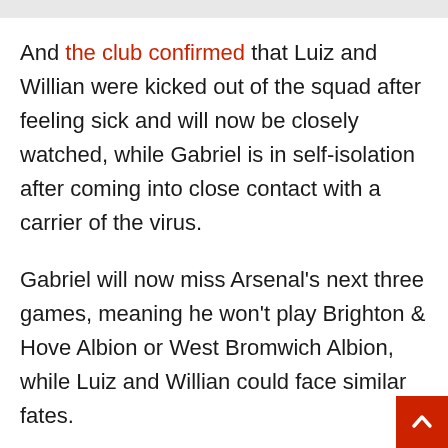And the club confirmed that Luiz and Willian were kicked out of the squad after feeling sick and will now be closely watched, while Gabriel is in self-isolation after coming into close contact with a carrier of the virus.
Gabriel will now miss Arsenal's next three games, meaning he won't play Brighton & Hove Albion or West Bromwich Albion, while Luiz and Willian could face similar fates.
The duo will be tested again before the next round of matches, but their illness prevented